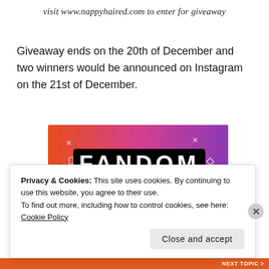visit www.nappyhaired.com to enter for giveaway
Giveaway ends on the 20th of December and two winners would be announced on Instagram on the 21st of December.
[Figure (illustration): Fandom on Tumblr promotional banner image with colorful orange-to-purple gradient background, bold text reading FANDOM ON tumblr with doodle decorations]
Privacy & Cookies: This site uses cookies. By continuing to use this website, you agree to their use. To find out more, including how to control cookies, see here: Cookie Policy
Close and accept